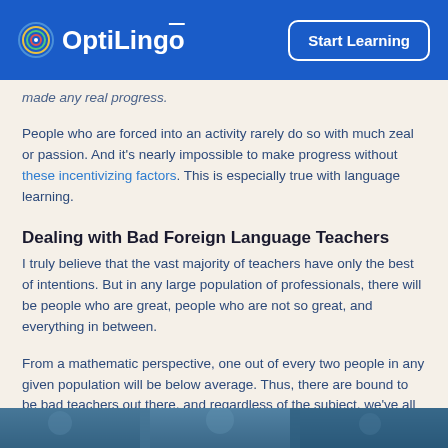OptiLingō | Start Learning
made any real progress.
People who are forced into an activity rarely do so with much zeal or passion. And it's nearly impossible to make progress without these incentivizing factors. This is especially true with language learning.
Dealing with Bad Foreign Language Teachers
I truly believe that the vast majority of teachers have only the best of intentions. But in any large population of professionals, there will be people who are great, people who are not so great, and everything in between.
From a mathematic perspective, one out of every two people in any given population will be below average. Thus, there are bound to be bad teachers out there, and regardless of the subject, we've all had at least a few of them.
[Figure (photo): Partial photo strip at the bottom of the page showing dark blurred imagery]